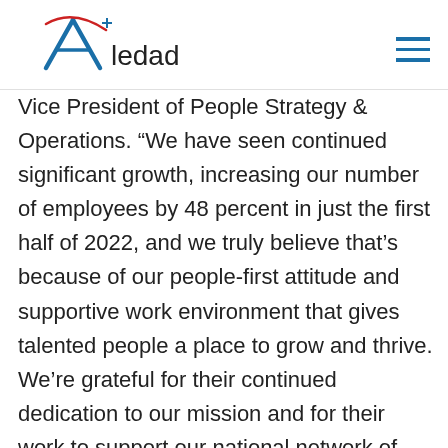Aledade
Vice President of People Strategy & Operations. “We have seen continued significant growth, increasing our number of employees by 48 percent in just the first half of 2022, and we truly believe that’s because of our people-first attitude and supportive work environment that gives talented people a place to grow and thrive. We’re grateful for their continued dedication to our mission and for their work to support our national network of primary care physicians as they deliver better care to millions of people every day.”